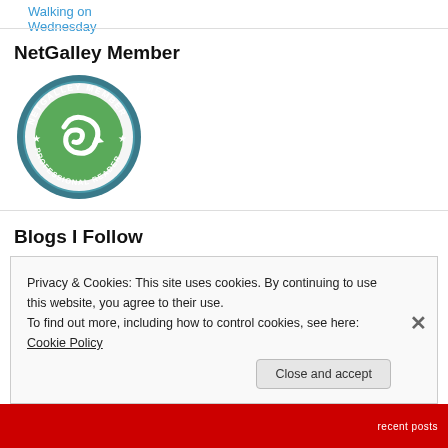Walking on Wednesday
NetGalley Member
[Figure (logo): NetGalley Member Professional Reader circular badge with green swirl logo]
Blogs I Follow
KellyVision
Privacy & Cookies: This site uses cookies. By continuing to use this website, you agree to their use.
To find out more, including how to control cookies, see here: Cookie Policy
Close and accept